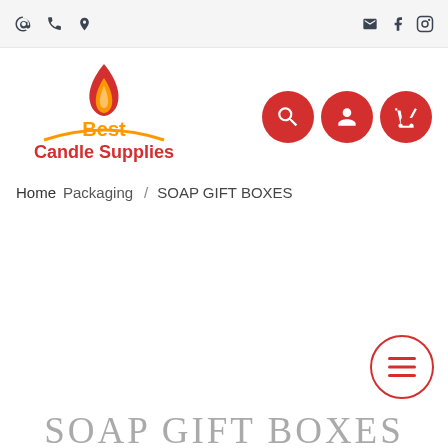@ phone location | email facebook instagram
[Figure (logo): Best Candle Supplies logo with flame and arc]
[Figure (other): Three red circular icon buttons: search, user account, shopping cart]
Home Packaging / SOAP GIFT BOXES
[Figure (other): Red outlined circular hamburger menu button]
SOAP GIFT BOXES